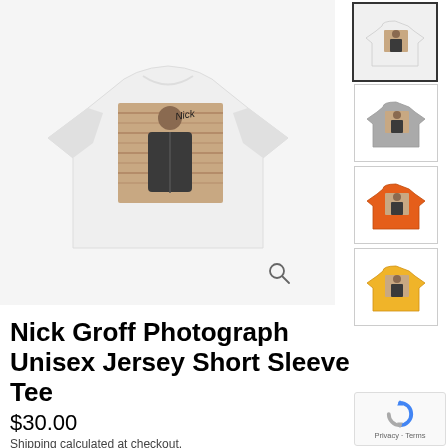[Figure (photo): White unisex t-shirt with a photo of Nick Groff printed on the front, displayed against a light gray background. The photo shows a man in a dark jacket standing in front of a brick wall with a signature overlay.]
[Figure (photo): Thumbnail of the same t-shirt in white, selected (outlined border)]
[Figure (photo): Thumbnail of the t-shirt in gray]
[Figure (photo): Thumbnail of the t-shirt in orange]
[Figure (photo): Thumbnail of the t-shirt in yellow]
Nick Groff Photograph Unisex Jersey Short Sleeve Tee
$30.00
Shipping calculated at checkout.